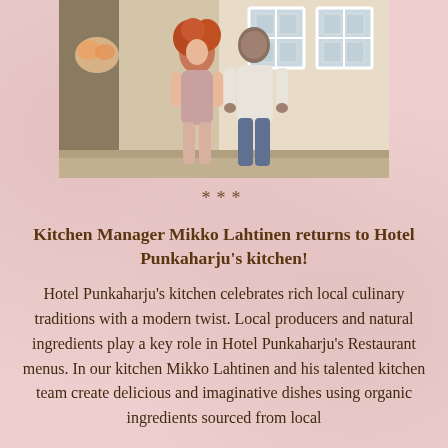[Figure (photo): A man and a woman standing in front of a building with white-framed windows. The woman has curly red hair and wears a light pink/mauve dress. The man wears a white short-sleeve shirt and jeans.]
***
Kitchen Manager Mikko Lahtinen returns to Hotel Punkaharju's kitchen!
Hotel Punkaharju's kitchen celebrates rich local culinary traditions with a modern twist. Local producers and natural ingredients play a key role in Hotel Punkaharju's Restaurant menus. In our kitchen Mikko Lahtinen and his talented kitchen team create delicious and imaginative dishes using organic ingredients sourced from local